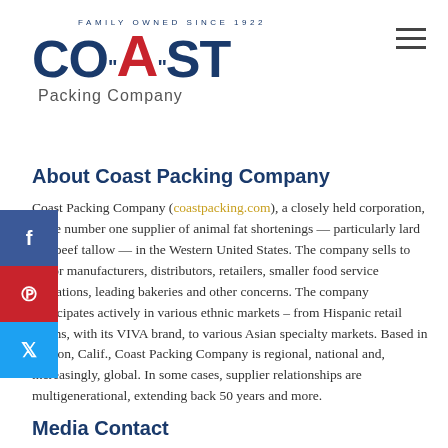[Figure (logo): Coast Packing Company logo with arc text 'FAMILY OWNED SINCE 1922', blue bold COAST text with red A, and subtitle 'Packing Company']
About Coast Packing Company
Coast Packing Company (coastpacking.com), a closely held corporation, is the number one supplier of animal fat shortenings — particularly lard and beef tallow — in the Western United States. The company sells to major manufacturers, distributors, retailers, smaller food service operations, leading bakeries and other concerns. The company participates actively in various ethnic markets — from Hispanic retail chains, with its VIVA brand, to various Asian specialty markets. Based in Vernon, Calif., Coast Packing Company is regional, national and, increasingly, global. In some cases, supplier relationships are multigenerational, extending back 50 years and more.
Media Contact
Ken Greenberg
Edge Communications, Inc.